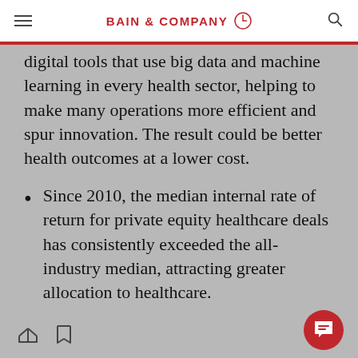BAIN & COMPANY
digital tools that use big data and machine learning in every health sector, helping to make many operations more efficient and spur innovation. The result could be better health outcomes at a lower cost.
Since 2010, the median internal rate of return for private equity healthcare deals has consistently exceeded the all-industry median, attracting greater allocation to healthcare.
In line with these trends, private equity investors doubled down in North America during the year